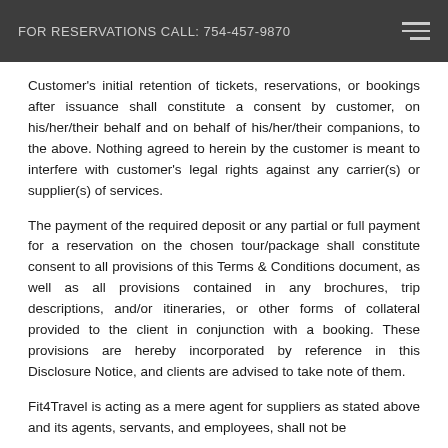FOR RESERVATIONS CALL: 754-457-9870
Customer's initial retention of tickets, reservations, or bookings after issuance shall constitute a consent by customer, on his/her/their behalf and on behalf of his/her/their companions, to the above. Nothing agreed to herein by the customer is meant to interfere with customer's legal rights against any carrier(s) or supplier(s) of services.
The payment of the required deposit or any partial or full payment for a reservation on the chosen tour/package shall constitute consent to all provisions of this Terms & Conditions document, as well as all provisions contained in any brochures, trip descriptions, and/or itineraries, or other forms of collateral provided to the client in conjunction with a booking. These provisions are hereby incorporated by reference in this Disclosure Notice, and clients are advised to take note of them.
Fit4Travel is acting as a mere agent for suppliers as stated above and its agents, servants, and employees, shall not be